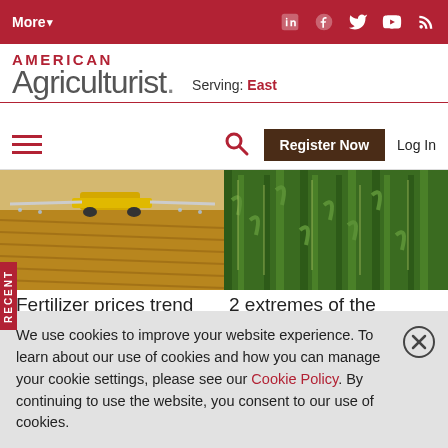More▾  [social icons: LinkedIn, Facebook, Twitter, YouTube, RSS]
AMERICAN Agriculturist.  Serving: East
[hamburger menu]  [search icon]  Register Now  Log In
[Figure (photo): Agricultural sprayer machine working in a dry brown harvested field]
[Figure (photo): Close-up of dense green corn/crop plants]
Fertilizer prices trend
2 extremes of the
We use cookies to improve your website experience. To learn about our use of cookies and how you can manage your cookie settings, please see our Cookie Policy. By continuing to use the website, you consent to our use of cookies.